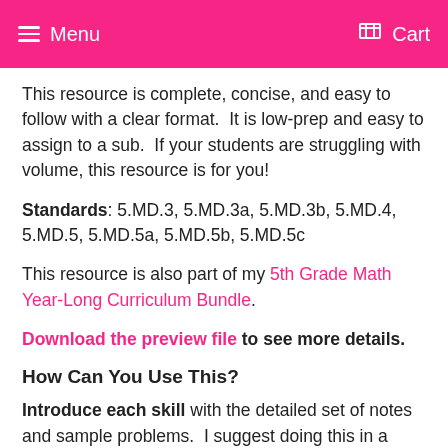Menu  Cart
This resource is complete, concise, and easy to follow with a clear format.  It is low-prep and easy to assign to a sub.  If your students are struggling with volume, this resource is for you!
Standards: 5.MD.3, 5.MD.3a, 5.MD.3b, 5.MD.4, 5.MD.5, 5.MD.5a, 5.MD.5b, 5.MD.5c
This resource is also part of my 5th Grade Math Year-Long Curriculum Bundle.
Download the preview file to see more details.
How Can You Use This?
Introduce each skill with the detailed set of notes and sample problems.  I suggest doing this in a whole group setting and pulling the PDF up on a Smartboard so